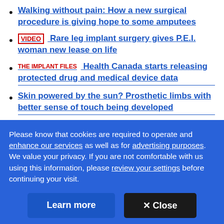Walking without pain: How a new surgical procedure is giving hope to some amputees
VIDEO   Rare leg implant surgery gives P.E.I. woman new lease on life
THE IMPLANT FILES   Health Canada starts releasing protected drug and medical device data
Skin powered by the sun? Prosthetic limbs with better sense of touch being developed
Please know that cookies are required to operate and enhance our services as well as for advertising purposes. We value your privacy. If you are not comfortable with us using this information, please review your settings before continuing your visit.